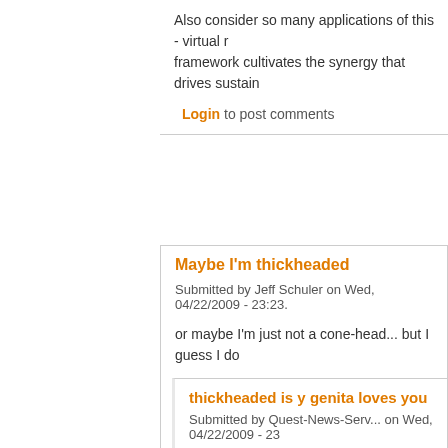Also consider so many applications of this - virtual r... framework cultivates the synergy that drives sustain...
Login to post comments
Maybe I'm thickheaded
Submitted by Jeff Schuler on Wed, 04/22/2009 - 23:23.
or maybe I'm just not a cone-head... but I guess I do...
The ideals you espouse are different than the status...
In fact, the diagrams look just like the org chart at th...
Login to post comments
thickheaded is y genita loves you
Submitted by Quest-News-Serv... on Wed, 04/22/2009 - 23...
thickheaded is y genita loves you